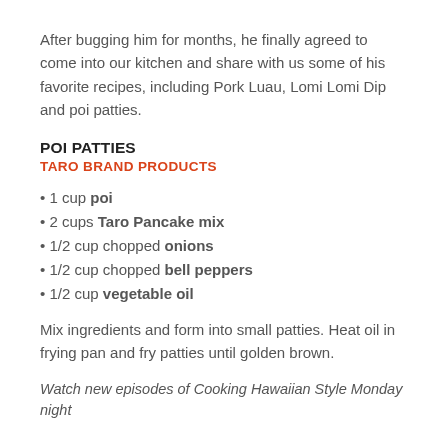After bugging him for months, he finally agreed to come into our kitchen and share with us some of his favorite recipes, including Pork Luau, Lomi Lomi Dip and poi patties.
POI PATTIES
TARO BRAND PRODUCTS
1 cup poi
2 cups Taro Pancake mix
1/2 cup chopped onions
1/2 cup chopped bell peppers
1/2 cup vegetable oil
Mix ingredients and form into small patties. Heat oil in frying pan and fry patties until golden brown.
Watch new episodes of Cooking Hawaiian Style Monday night